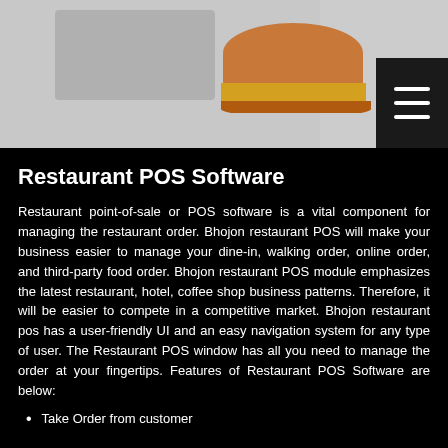[Figure (photo): Header image showing a laptop/screen on the left on a gray background, a burger/food image in the center-right, and a dark hamburger menu icon (three horizontal lines) on the far right.]
Restaurant POS Software
Restaurant point-of-sale or POS software is a vital component for managing the restaurant order. Bhojon restaurant POS will make your business easier to manage your dine-in, walking order, online order, and third-party food order. Bhojon restaurant POS module emphasizes the latest restaurant, hotel, coffee shop business patterns. Therefore, it will be easier to compete in a competitive market. Bhojon restaurant pos has a user-friendly UI and an easy navigation system for any type of user. The Restaurant POS window has all you need to manage the order at your fingertips. Features of Restaurant POS Software are below:
Take Order from customer